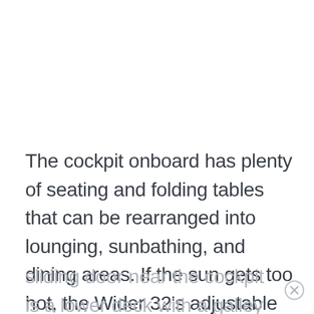The cockpit onboard has plenty of seating and folding tables that can be rearranged into lounging, sunbathing, and dining areas. If the sun gets too hot, the Wider 32's adjustable awning can be pulled down over the cockpit. Through a
sliding door near the cockpit is a lower deck with a galley that contains a